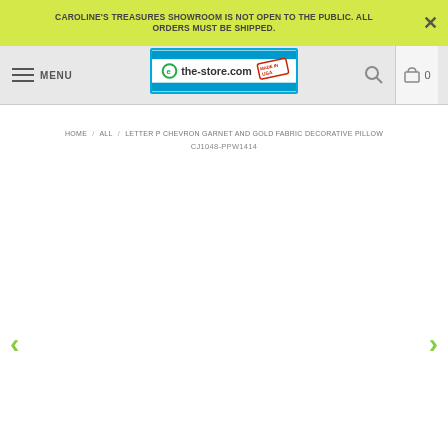CAROLINE'S TREASURES SHOWROOM IS NOT OPEN TO THE PUBLIC. ALL ORDERS MUST BE SHIPPED.
[Figure (logo): the-store.com logo with 'Made in USA' stamp]
HOME / ALL / LETTER P CHEVRON GARNET AND GOLD FABRIC DECORATIVE PILLOW CJ1048-PPW1414